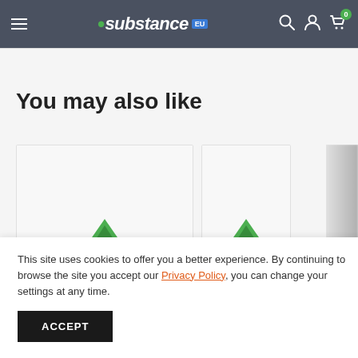Substance - navigation bar with hamburger menu, logo, search, account and cart icons
You may also like
[Figure (screenshot): Two product card thumbnails showing green tree/plant icons on white background, partially visible]
This site uses cookies to offer you a better experience. By continuing to browse the site you accept our Privacy Policy, you can change your settings at any time.
ACCEPT